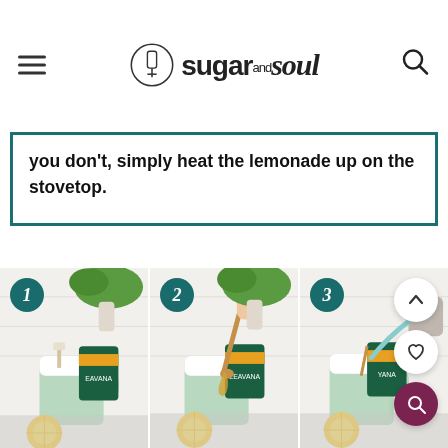sugar and soul
you don't, simply heat the lemonade up on the stovetop.
[Figure (photo): Three-step process photos showing: 1) green mug with ingredients including Teavana tea, 2) honey being drizzled into a green mug, 3) liquid being poured into a green mug. Orange slices visible in foreground of each step.]